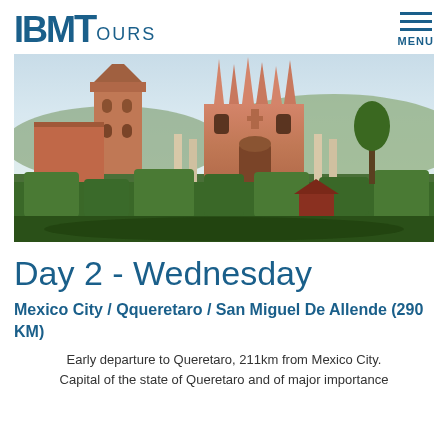IBMTours MENU
[Figure (photo): Photo of San Miguel de Allende showing the gothic pink Parroquia church and a bell tower surrounded by lush green topiary gardens at dusk]
Day 2 - Wednesday
Mexico City / Qqueretaro / San Miguel De Allende (290 KM)
Early departure to Queretaro, 211km from Mexico City. Capital of the state of Queretaro and of major importance